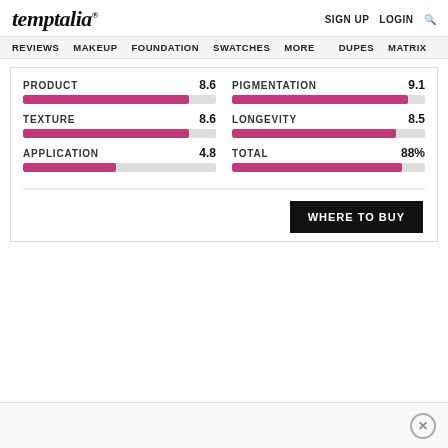temptalia® — SIGN UP  LOGIN  🔍
REVIEWS  MAKEUP  FOUNDATION  SWATCHES  MORE  DUPES  MATRIX
[Figure (bar-chart): Product Scores]